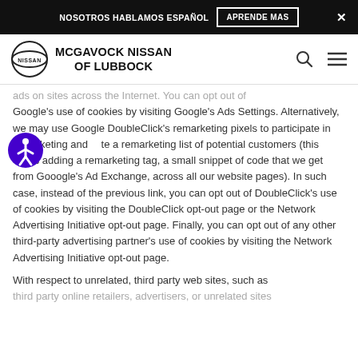NOSOTROS HABLAMOS ESPAÑOL   APRENDE MAS   ×
[Figure (logo): Nissan logo circle with McGavock Nissan of Lubbock dealer name and search/menu icons]
ads on sites across the Internet. You can opt out of Google's use of cookies by visiting Google's Ads Settings. Alternatively, we may use Google DoubleClick's remarketing pixels to participate in remarketing and create a remarketing list of potential customers (this involves adding a remarketing tag, a small snippet of code that we get from Gooogle's Ad Exchange, across all our website pages). In such case, instead of the previous link, you can opt out of DoubleClick's use of cookies by visiting the DoubleClick opt-out page or the Network Advertising Initiative opt-out page. Finally, you can opt out of any other third-party advertising partner's use of cookies by visiting the Network Advertising Initiative opt-out page.
With respect to unrelated, third party web sites, such as third party online retailers, advertisers, or unrelated sites